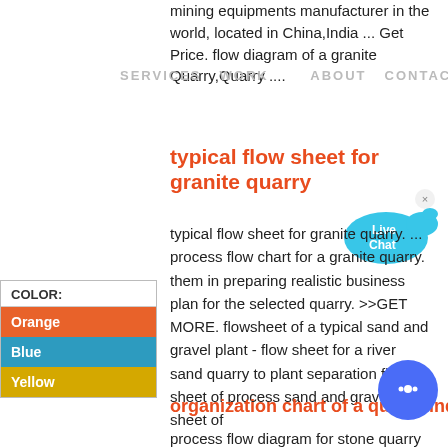mining equipments manufacturer in the world, located in China,India ... Get Price. flow diagram of a granite Quarry,Quarry ....
SERVICES   WORK   ABOUT   CONTACT
typical flow sheet for granite quarry
[Figure (other): Live Chat speech bubble widget in blue]
typical flow sheet for granite quarry. ... process flow chart for a granite quarry. them in preparing realistic business plan for the selected quarry. >>GET MORE. flowsheet of a typical sand and gravel plant - flow sheet for a river sand quarry to plant separation flow sheet of process sand and gravel. flow sheet of
| COLOR: |
| --- |
| Orange |
| Blue |
| Yellow |
organization chart of a quarry industry
process flow diagram for stone quarry